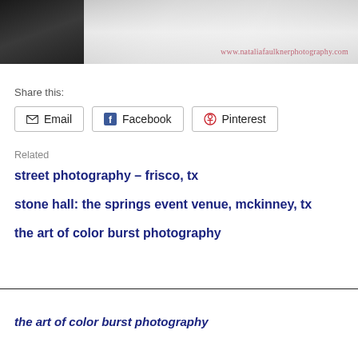[Figure (photo): Black and white wedding photo showing a groom in black tuxedo on the left and a bride in white lace dress on the right, cropped to show torsos. Watermark reads www.nataliafaulknerphotography.com]
Share this:
Email
Facebook
Pinterest
Related
street photography – frisco, tx
stone hall: the springs event venue, mckinney, tx
the art of color burst photography
the art of color burst photography